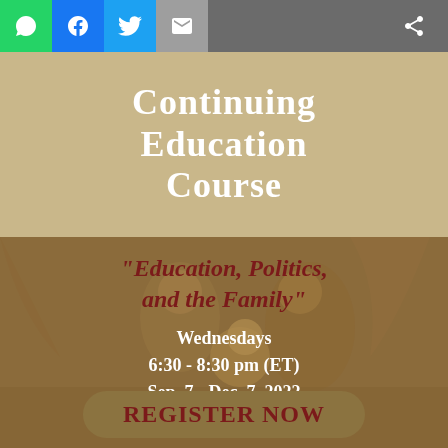[Figure (infographic): Social media sharing toolbar with WhatsApp (green), Facebook (blue), Twitter (light blue), Email (gray) icons and share icon on dark gray background]
Continuing Education Course
[Figure (photo): Sepia-toned classical painting of a family scene with mother, father, and child as background]
"Education, Politics, and the Family"
Wednesdays
6:30 - 8:30 pm (ET)
Sep. 7 - Dec. 7, 2022
REGISTER NOW